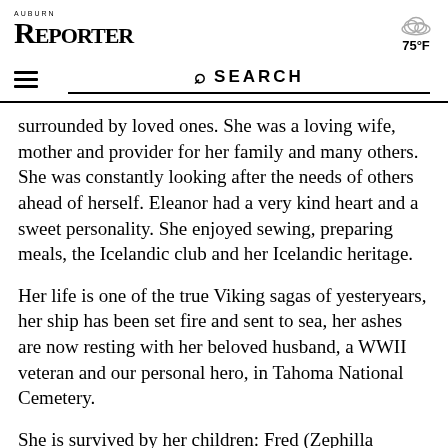Auburn Reporter
surrounded by loved ones. She was a loving wife, mother and provider for her family and many others. She was constantly looking after the needs of others ahead of herself. Eleanor had a very kind heart and a sweet personality. She enjoyed sewing, preparing meals, the Icelandic club and her Icelandic heritage.
Her life is one of the true Viking sagas of yesteryears, her ship has been set fire and sent to sea, her ashes are now resting with her beloved husband, a WWII veteran and our personal hero, in Tahoma National Cemetery.
She is survived by...